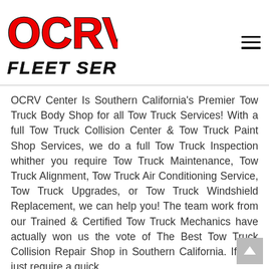[Figure (logo): OCRV Fleet Services logo with red OCRV text and black FLEET SERVICES italic text below]
OCRV Center Is Southern California's Premier Tow Truck Body Shop for all Tow Truck Services! With a full Tow Truck Collision Center & Tow Truck Paint Shop Services, we do a full Tow Truck Inspection whither you require Tow Truck Maintenance, Tow Truck Alignment, Tow Truck Air Conditioning Service, Tow Truck Upgrades, or Tow Truck Windshield Replacement, we can help you! The team work from our Trained & Certified Tow Truck Mechanics have actually won us the vote of The Best Tow Truck Collision Repair Shop in Southern California. If you just require a quick